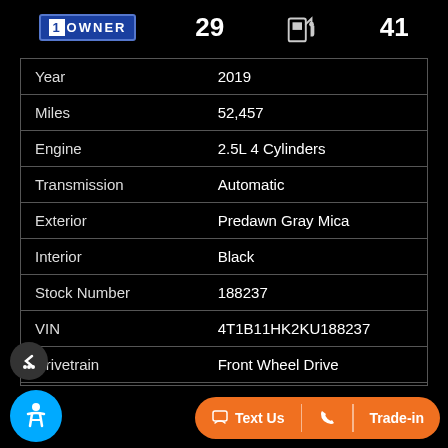[Figure (infographic): 1 Owner badge, city MPG 29, fuel pump icon, highway MPG 41]
| Year | 2019 |
| Miles | 52,457 |
| Engine | 2.5L 4 Cylinders |
| Transmission | Automatic |
| Exterior | Predawn Gray Mica |
| Interior | Black |
| Stock Number | 188237 |
| VIN | 4T1B11HK2KU188237 |
| Drivetrain | Front Wheel Drive |
|  | 4dr Se |
| Doors | 4 |
[Figure (other): Bottom CTA bar with Text Us, phone icon, and Trade-in buttons in orange pill shape]